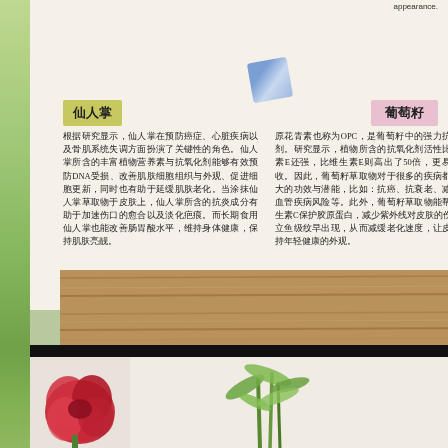appearance.
仙人掌
葡萄籽
根据研究显示，仙人掌在预防癌症、心脏疾病以及骨肌系统失调方面扮演了关键性的角色。仙人掌所含的丰富植物营养素与抗氧化剂能够有效预防DNA受损、改善肌肤细胞组织与外观、促进细胞更新，同时也有助于延缓肌肤老化。当涂抹仙人掌草取物于皮肤上，仙人掌所含的抗炎成分有助于加速伤口的愈合以及淡化疤痕。而长期食用仙人掌也能改善肠胃酸水平，维持身体健康，保持肌肤亮靓。
原花青素也称为OPC，是葡萄籽中的强力抗氧化剂。研究显示，植物所含的抗氧化剂活性比维生素E还强，比维生素E则高出了50倍，更易被吸收。因此，葡萄籽草取物对于很多的疾病都有极大的功效与潜能，比如：抗癌、抗衰老、减少心血管疾病风险等。此外，葡萄籽草取物能帮助维生素C保护胶原蛋白，减少紫外线对皮肤的伤害，立鱼级纹早出现，从而减缓老化速度，让皮肤保持年轻健康的外观。
[Figure (photo): Bottom section showing a red flower and green bamboo plant against white background with dark header bar]